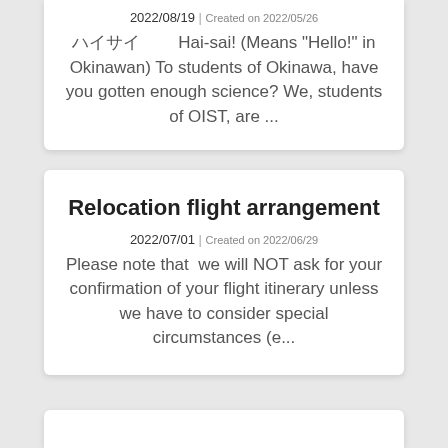2022/08/19 | Created on 2022/05/26
ハイサイ　　Hai-sai! (Means "Hello!" in Okinawan) To students of Okinawa, have you gotten enough science? We, students of OIST, are ...
Relocation flight arrangement
2022/07/01 | Created on 2022/06/29
Please note that  we will NOT ask for your confirmation of your flight itinerary unless we have to consider special circumstances (e...